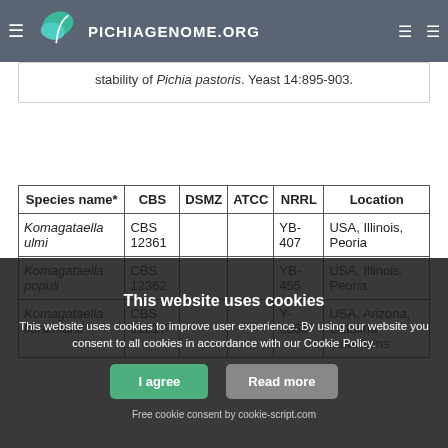PICHIAGENOME.ORG
stability of Pichia pastoris. Yeast 14:895-903.
| Species name* | CBS | DSMZ | ATCC | NRRL | Location |
| --- | --- | --- | --- | --- | --- |
| Komagataella ulmi | CBS 12361 |  |  | YB-407 | USA, Illinois, Peoria |
| Komagataella populi | CBS 12362 |  |  | YB-455 | USA, Illinois, Peoria |
| Komagataella kurtzmanii | CBS 12817 |  |  | Y-63667 | USA, Arizona, Catalina mountains |